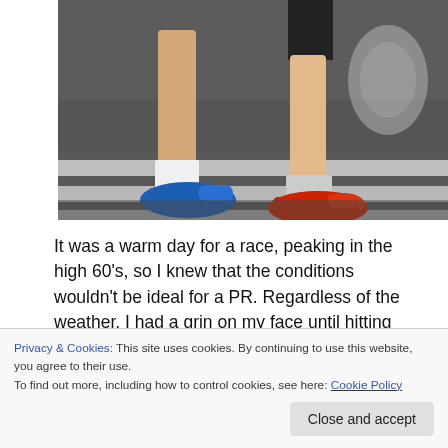[Figure (photo): Photo showing the legs and feet of two runners wearing colorful sneakers (blue and red) standing on a road with white crosswalk markings.]
It was a warm day for a race, peaking in the high 60's, so I knew that the conditions wouldn't be ideal for a PR. Regardless of the weather, I had a grin on my face until hitting the wall at the predictable 20th mile. After a summer of trail running, I was happy to be back on the roads. This race offered many picturesque views of the surrounding hills and small towns, with bustling energy
Privacy & Cookies: This site uses cookies. By continuing to use this website, you agree to their use.
To find out more, including how to control cookies, see here: Cookie Policy
Close and accept